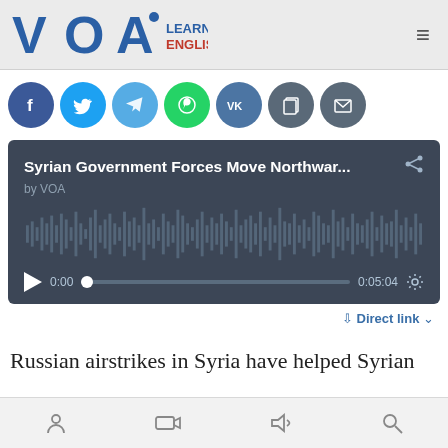VOA Learning English
[Figure (infographic): Row of social media share icons: Facebook (dark blue), Twitter (light blue), Telegram (light blue), WhatsApp (green), VK (dark blue-gray), Copy (gray), Email (gray)]
[Figure (screenshot): Audio player widget with dark background showing title 'Syrian Government Forces Move Northwar...' by VOA, waveform visualization, play button, time 0:00 / 0:05:04, and settings gear icon]
↓ Direct link ∨
Russian airstrikes in Syria have helped Syrian